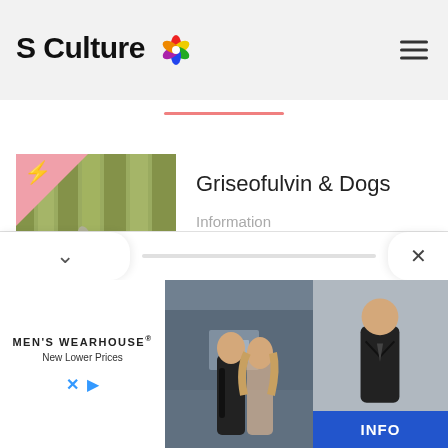S Culture
Griseofulvin & Dogs
Information
Why Do Shampoos Say Not To Use On Young Puppies?
Information
[Figure (photo): Advertisement for Men's Wearhouse featuring a couple in formal wear and man in suit with INFO button]